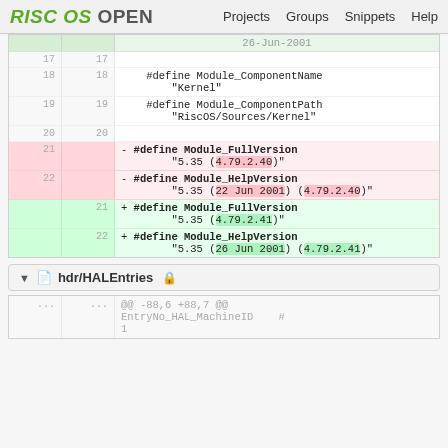RISC OS OPEN  Projects  Groups  Snippets  Help
| old | new | code |
| --- | --- | --- |
|  |  | 26-Jun-2001 |
| 17 | 17 |  |
| 18 | 18 |     #define Module_ComponentName
        "Kernel" |
| 19 | 19 |     #define Module_ComponentPath
        "RiscOS/Sources/Kernel" |
| 20 | 20 |  |
| 21 |  |   - #define Module_FullVersion
          "5.35 (4.79.2.40)" |
| 22 |  |   - #define Module_HelpVersion
          "5.35 (22 Jun 2001) (4.79.2.40)" |
|  | 21 |   + #define Module_FullVersion
          "5.35 (4.79.2.41)" |
|  | 22 |   + #define Module_HelpVersion
          "5.35 (26 Jun 2001) (4.79.2.41)" |
hdr/HALEntries
| ... | ... | code |
| --- | --- | --- |
| ... | ... | @@ -88,6 +88,7 @@
EntryNo_HAL_MachineID    #
1 |